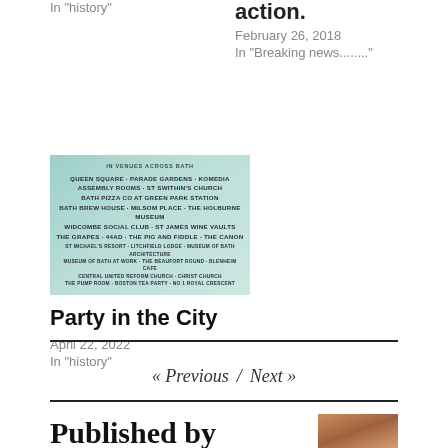In "history"
action.
February 26, 2018
In "Breaking news........"
[Figure (photo): Event poster for 'In Venues Across Bath' listing multiple venues including Queen Square, Parade Gardens, Komedia, Assembly Rooms, St Swithin's Church, Bath Pizza Co at Green Park Station, Bath Brew House, Milsom Place, The Holburne Museum, Widcombe Social Club, St James Wine Vaults, The Grapes, 4440, The Pig and Fiddle, The Canon, and many more smaller venues.]
Party in the City
April 22, 2022
In "history"
« Previous  /  Next »
Published by